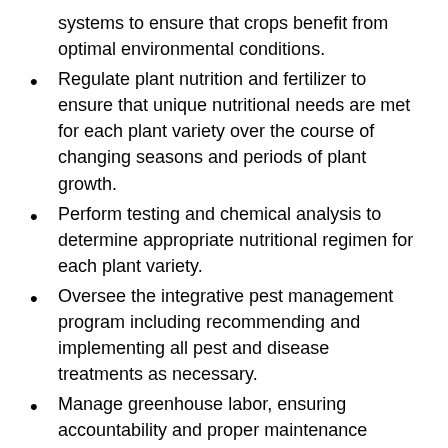systems to ensure that crops benefit from optimal environmental conditions.
Regulate plant nutrition and fertilizer to ensure that unique nutritional needs are met for each plant variety over the course of changing seasons and periods of plant growth.
Perform testing and chemical analysis to determine appropriate nutritional regimen for each plant variety.
Oversee the integrative pest management program including recommending and implementing all pest and disease treatments as necessary.
Manage greenhouse labor, ensuring accountability and proper maintenance